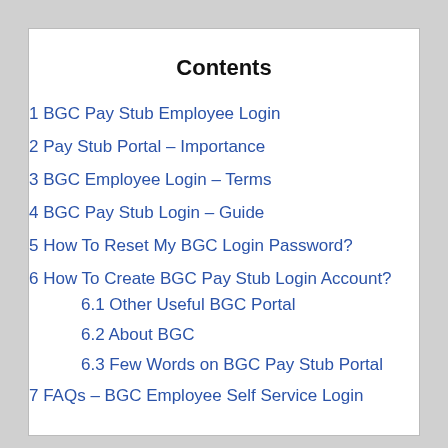Contents
1 BGC Pay Stub Employee Login
2 Pay Stub Portal – Importance
3 BGC Employee Login – Terms
4 BGC Pay Stub Login – Guide
5 How To Reset My BGC Login Password?
6 How To Create BGC Pay Stub Login Account?
6.1 Other Useful BGC Portal
6.2 About BGC
6.3 Few Words on BGC Pay Stub Portal
7 FAQs – BGC Employee Self Service Login